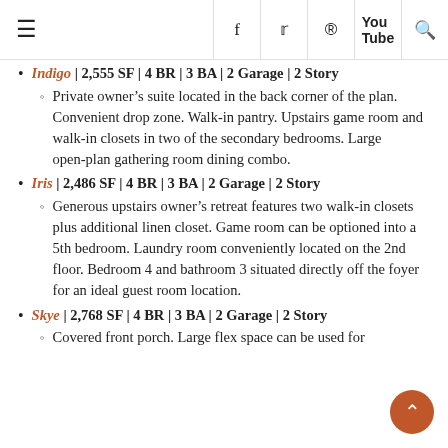≡ | f | 𝕥 | pinterest | youtube | search
Indigo | 2,555 SF | 4 BR | 3 BA | 2 Garage | 2 Story
Private owner's suite located in the back corner of the plan. Convenient drop zone. Walk-in pantry. Upstairs game room and walk-in closets in two of the secondary bedrooms. Large open-plan gathering room dining combo.
Iris | 2,486 SF | 4 BR | 3 BA | 2 Garage | 2 Story
Generous upstairs owner's retreat features two walk-in closets plus additional linen closet. Game room can be optioned into a 5th bedroom. Laundry room conveniently located on the 2nd floor. Bedroom 4 and bathroom 3 situated directly off the foyer for an ideal guest room location.
Skye | 2,768 SF | 4 BR | 3 BA | 2 Garage | 2 Story
Covered front porch. Large flex space can be used for